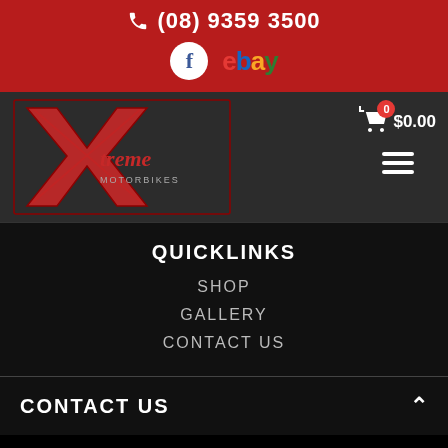(08) 9359 3500
[Figure (logo): Facebook circle icon and eBay logo on red background]
[Figure (logo): Xtreme Motorbikes logo in red on dark grey background]
$0.00 cart with 0 items
QUICKLINKS
SHOP
GALLERY
CONTACT US
CONTACT US